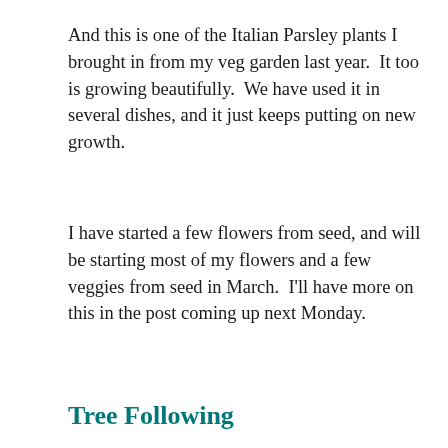And this is one of the Italian Parsley plants I brought in from my veg garden last year.  It too is growing beautifully.  We have used it in several dishes, and it just keeps putting on new growth.
I have started a few flowers from seed, and will be starting most of my flowers and a few veggies from seed in March.  I'll have more on this in the post coming up next Monday.
Tree Following